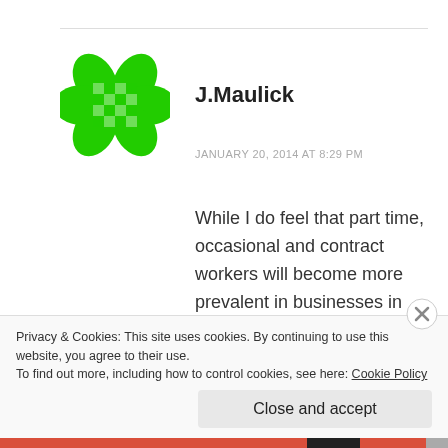[Figure (logo): Green flower/snowflake-shaped avatar icon for user J.Maulick]
J.Maulick
JANUARY 20, 2014 AT 8:29 PM
While I do feel that part time, occasional and contract workers will become more prevalent in businesses in the future, I don't believe that it is only the because of increased health care costs. Companies need to become leaner and utilize the
Privacy & Cookies: This site uses cookies. By continuing to use this website, you agree to their use.
To find out more, including how to control cookies, see here: Cookie Policy
Close and accept